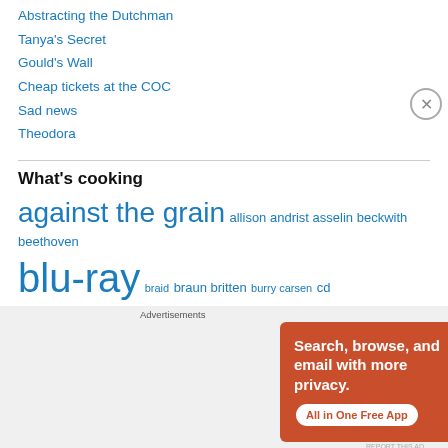Abstracting the Dutchman
Tanya's Secret
Gould's Wall
Cheap tickets at the COC
Sad news
Theodora
What's cooking
against the grain allison andrist asselin beckwith beethoven blu-ray braid braun britten burry carsen cd COC debus
[Figure (infographic): DuckDuckGo advertisement banner with orange background showing a smartphone. Text reads: Search, browse, and email with more privacy. All in One Free App. DuckDuckGo logo on phone.]